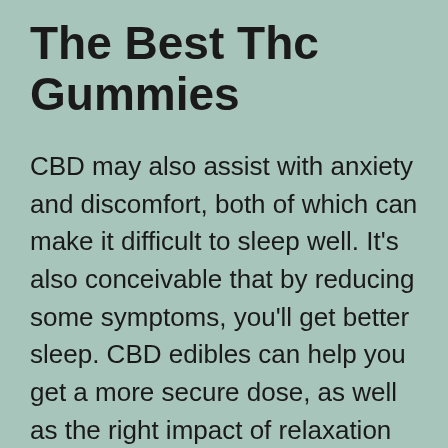The Best Thc Gummies
CBD may also assist with anxiety and discomfort, both of which can make it difficult to sleep well. It's also conceivable that by reducing some symptoms, you'll get better sleep. CBD edibles can help you get a more secure dose, as well as the right impact of relaxation and hence a good night's sleep, thanks to the extended effect that CBD edibles are known for. Individuals suffering from attention deficit hyperactivity disorder may benefit from self-treatment with edibles .